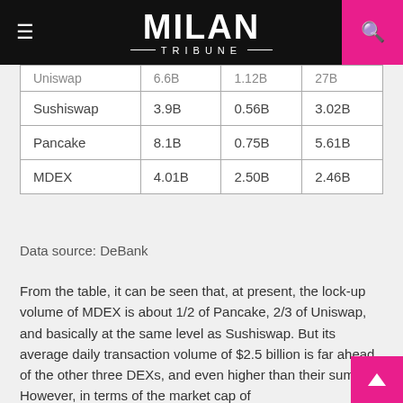MILAN TRIBUNE
|  |  |  |  |
| --- | --- | --- | --- |
| Uniswap | 6.6B | 1.12B | 27B |
| Sushiswap | 3.9B | 0.56B | 3.02B |
| Pancake | 8.1B | 0.75B | 5.61B |
| MDEX | 4.01B | 2.50B | 2.46B |
Data source: DeBank
From the table, it can be seen that, at present, the lock-up volume of MDEX is about 1/2 of Pancake, 2/3 of Uniswap, and basically at the same level as Sushiswap. But its average daily transaction volume of $2.5 billion is far ahead of the other three DEXs, and even higher than their sum. However, in terms of the market cap of